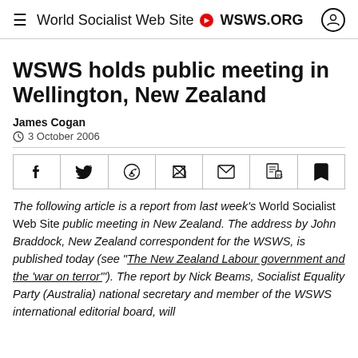World Socialist Web Site • WSWS.ORG
WSWS holds public meeting in Wellington, New Zealand
James Cogan
3 October 2006
[Figure (other): Social share buttons: Facebook, Twitter, WhatsApp, Telegram, Email, PDF, Bookmark]
The following article is a report from last week's World Socialist Web Site public meeting in New Zealand. The address by John Braddock, New Zealand correspondent for the WSWS, is published today (see "The New Zealand Labour government and the 'war on terror'"). The report by Nick Beams, Socialist Equality Party (Australia) national secretary and member of the WSWS international editorial board, will be published tomorrow.